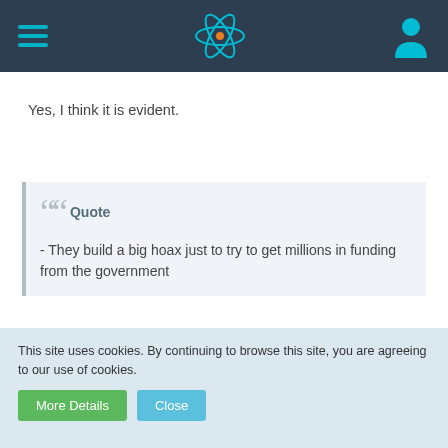Navigation header with hamburger menu, atom logo, and user icon
Yes, I think it is evident.
Quote
- They build a big hoax just to try to get millions in funding from the government
This argument is OT in this thread which is dedicated to discussing only the F&P experiments and their interpretation.
This site uses cookies. By continuing to browse this site, you are agreeing to our use of cookies.